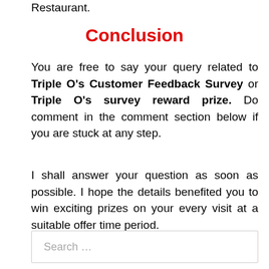Restaurant.
Conclusion
You are free to say your query related to Triple O's Customer Feedback Survey or Triple O's survey reward prize. Do comment in the comment section below if you are stuck at any step.
I shall answer your question as soon as possible. I hope the details benefited you to win exciting prizes on your every visit at a suitable offer time period.